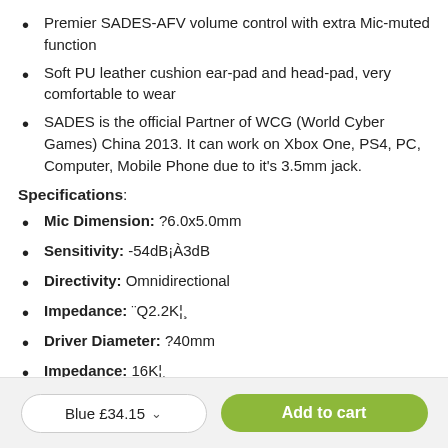Premier SADES-AFV volume control with extra Mic-muted function
Soft PU leather cushion ear-pad and head-pad, very comfortable to wear
SADES is the official Partner of WCG (World Cyber Games) China 2013. It can work on Xbox One, PS4, PC, Computer, Mobile Phone due to it's 3.5mm jack.
Specifications:
Mic Dimension: ?6.0x5.0mm
Sensitivity: -54dB¡À3dB
Directivity: Omnidirectional
Impedance: ¨Q2.2K¦¸
Driver Diameter: ?40mm
Impedance: 16K¦¸
Blue £34.15
Add to cart